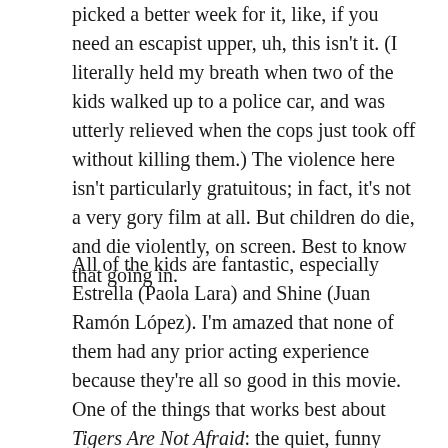picked a better week for it, like, if you need an escapist upper, uh, this isn't it. (I literally held my breath when two of the kids walked up to a police car, and was utterly relieved when the cops just took off without killing them.) The violence here isn't particularly gratuitous; in fact, it's not a very gory film at all. But children do die, and die violently, on screen. Best to know that going in.
All of the kids are fantastic, especially Estrella (Paola Lara) and Shine (Juan Ramón López). I'm amazed that none of them had any prior acting experience because they're all so good in this movie. One of the things that works best about Tigers Are Not Afraid: the quiet, funny moments when the kids are just hanging out: play-acting some American Idol shit in an abandoned building, telling ghost stories about this dude who eats kids with his pepperoni, etc. And while I can be hit or miss on